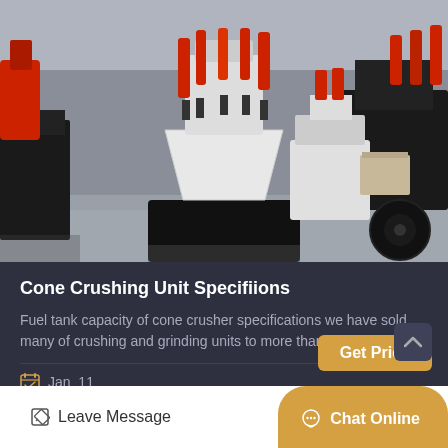[Figure (photo): Industrial cone crusher machines in a factory setting. Large white and black cone crushing units with red hydraulic cylinders are visible on a concrete floor.]
Cone Crushing Unit Specifiions
Fuel tank capacity of cone crusher specifications we have sold many of crushing and grinding units to more than 130 countries…
Jan_11
Get Price
Leave Message
Chat Online